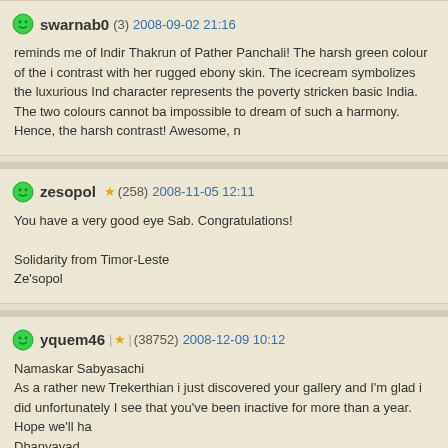swarnab0 (3) 2008-09-02 21:16
reminds me of Indir Thakrun of Pather Panchali! The harsh green colour of the i contrast with her rugged ebony skin. The icecream symbolizes the luxurious Ind character represents the poverty stricken basic India. The two colours cannot ba impossible to dream of such a harmony. Hence, the harsh contrast! Awesome, n
zesopol (258) 2008-11-05 12:11
You have a very good eye Sab. Congratulations!

Solidarity from Timor-Leste
Ze'sopol
yquem46 (38752) 2008-12-09 10:12
Namaskar Sabyasachi
As a rather new Trekerthian i just discovered your gallery and I'm glad i did unfortunately I see that you've been inactive for more than a year. Hope we'll ha Dhanyavad
Patrick